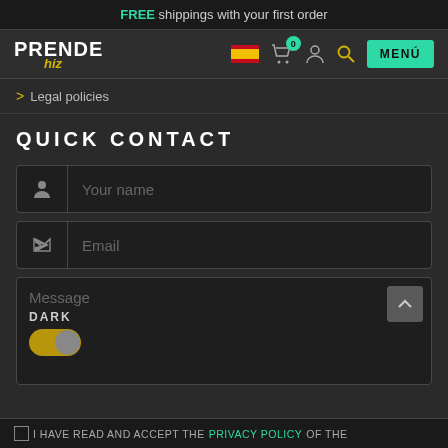FREE shippings with your first order
[Figure (screenshot): Navigation bar with Prendehiz logo, Spanish flag icon, cart icon with 0 badge, user icon, search icon, and MENÚ button]
> Legal policies
QUICK CONTACT
[Figure (screenshot): Contact form with Your name field, Email field, Message textarea with scroll-up button, DARK label, and toggle switch]
I HAVE READ AND ACCEPT THE PRIVACY POLICY OF THE